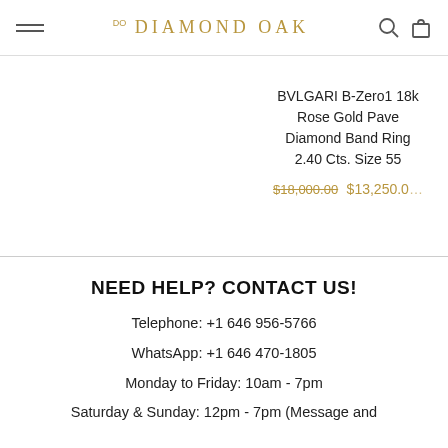DIAMOND OAK
BVLGARI B-Zero1 18k Rose Gold Pave Diamond Band Ring 2.40 Cts. Size 55
$18,000.00  $13,250.00
NEED HELP? CONTACT US!
Telephone: +1 646 956-5766
WhatsApp: +1 646 470-1805
Monday to Friday: 10am - 7pm
Saturday & Sunday: 12pm - 7pm (Message and